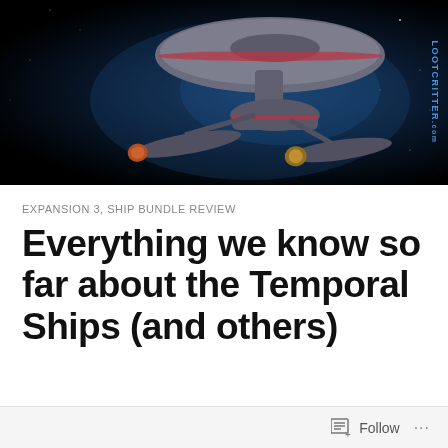[Figure (photo): Star Trek starship (Enterprise-style) against a dark space background with blue nebula. The ship has a saucer section on top and warp nacelles. A watermark reading LOOTCRITTER.com is visible on the right side rotated vertically.]
EXPANSION 3, SHIP BUNDLE REVIEW
Everything we know so far about the Temporal Ships (and others)
Follow ...